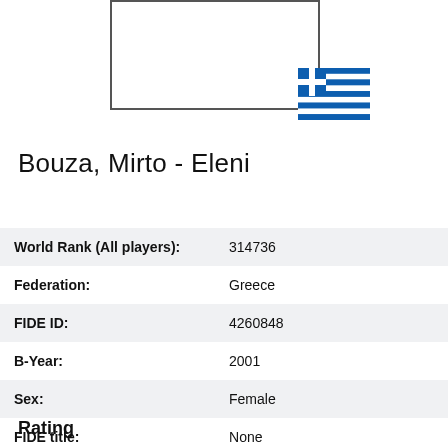[Figure (photo): Rectangular photo placeholder box for chess player profile photo]
[Figure (illustration): Greek flag icon]
Bouza, Mirto - Eleni
| World Rank (All players): | 314736 |
| Federation: | Greece |
| FIDE ID: | 4260848 |
| B-Year: | 2001 |
| Sex: | Female |
| FIDE title: | None |
Rating